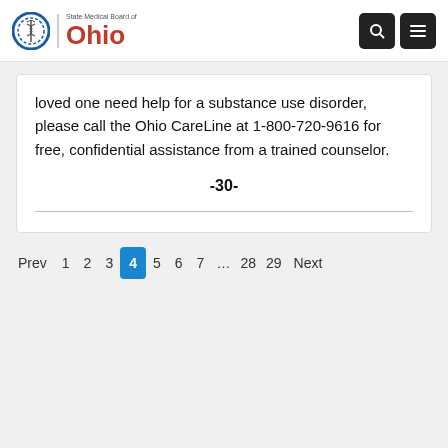[Figure (logo): State Medical Board of Ohio logo with caduceus symbol and Ohio text in red]
loved one need help for a substance use disorder, please call the Ohio CareLine at 1-800-720-9616 for free, confidential assistance from a trained counselor.

-30-
Prev 1 2 3 4 5 6 7 … 28 29 Next